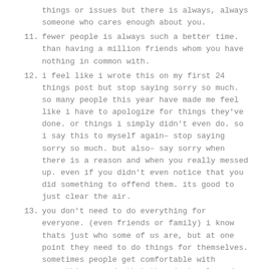things or issues but there is always, always someone who cares enough about you.
11. fewer people is always such a better time. than having a million friends whom you have nothing in common with.
12. i feel like i wrote this on my first 24 things post but stop saying sorry so much. so many people this year have made me feel like i have to apologize for things they've done. or things i simply didn't even do. so i say this to myself again– stop saying sorry so much. but also– say sorry when there is a reason and when you really messed up. even if you didn't even notice that you did something to offend them. its good to just clear the air.
13. you don't need to do everything for everyone. (even friends or family) i know thats just who some of us are, but at one point they need to do things for themselves. sometimes people get comfortable with everything you do that they just rely and rely and rely and keep asking. focus on mutual understanding,